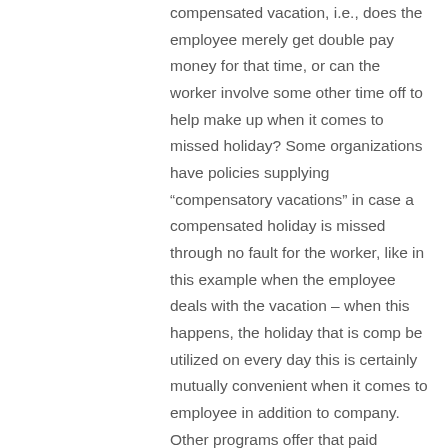compensated vacation, i.e., does the employee merely get double pay money for that time, or can the worker involve some other time off to help make up when it comes to missed holiday? Some organizations have policies supplying “compensatory vacations” in case a compensated holiday is missed through no fault for the worker, like in this example when the employee deals with the vacation – when this happens, the holiday that is comp be utilized on every day this is certainly mutually convenient when it comes to employee in addition to company. Other programs offer that paid holiday breaks are lost in the event that worker wouldn’t normally have already been at your workplace in any occasion (a vacation that